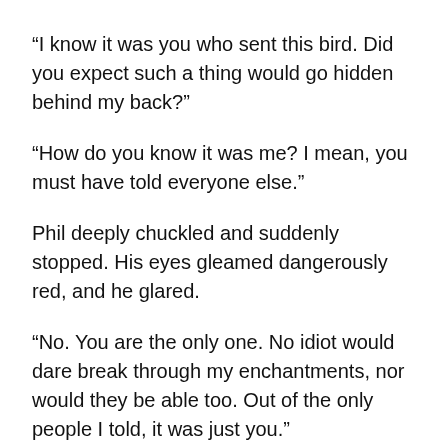“I know it was you who sent this bird. Did you expect such a thing would go hidden behind my back?”
“How do you know it was me? I mean, you must have told everyone else.”
Phil deeply chuckled and suddenly stopped. His eyes gleamed dangerously red, and he glared.
“No. You are the only one. No idiot would dare break through my enchantments, nor would they be able too. Out of the only people I told, it was just you.”